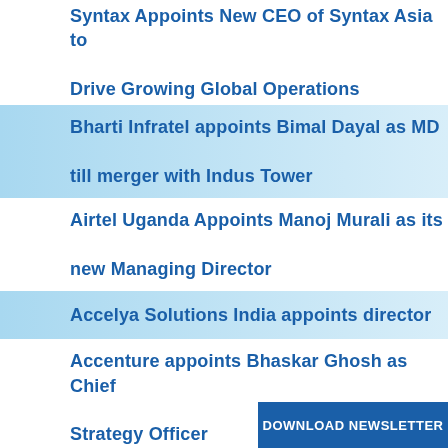Syntax Appoints New CEO of Syntax Asia to Drive Growing Global Operations
Bharti Infratel appoints Bimal Dayal as MD till merger with Indus Tower
Airtel Uganda Appoints Manoj Murali as its new Managing Director
Accelya Solutions India appoints director
Accenture appoints Bhaskar Ghosh as Chief Strategy Officer
Bharti Airtel Non Executive Director Tan Yong Choo Resigns